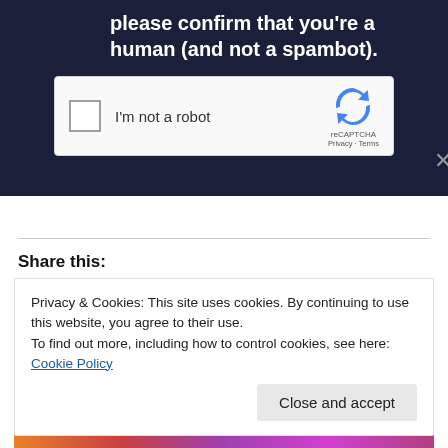please confirm that you’re a human (and not a spambot).
[Figure (other): reCAPTCHA widget with checkbox labeled I'm not a robot and reCAPTCHA logo with Privacy and Terms links]
Share this:
Privacy & Cookies: This site uses cookies. By continuing to use this website, you agree to their use.
To find out more, including how to control cookies, see here: Cookie Policy
Close and accept